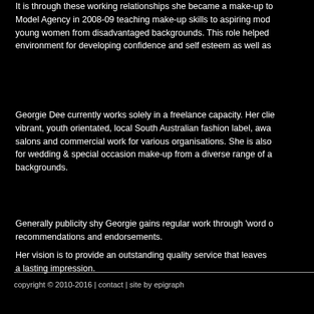It is through these working relationships she became a make-up to Model Agency in 2008-09 teaching make-up skills to aspiring models, young women from disadvantaged backgrounds. This role helped environment for developing confidence and self esteem as well as
Georgie Dee currently works solely in a freelance capacity. Her clients are vibrant, youth orientated, local South Australian fashion label, award salons and commercial work for various organisations. She is also in demand for wedding & special occasion make-up from a diverse range of all backgrounds.
Generally publicity shy Georgie gains regular work through 'word of mouth' recommendations and endorsements.
Her vision is to provide an outstanding quality service that leaves a lasting impression.
copyright © 2010-2016 | contact | site by epigraph